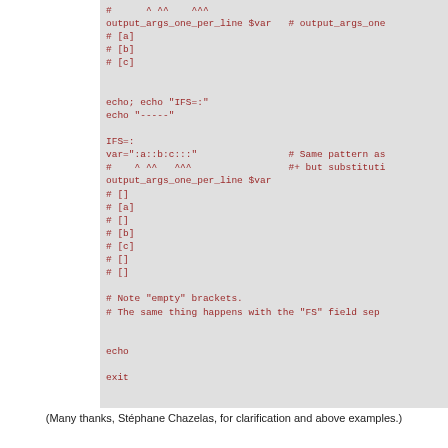[Figure (screenshot): Code block on grey background showing bash shell script excerpt with red monospace text. Content includes variable output, IFS assignment, pattern matching with output_args_one_per_line, and echo/exit commands.]
(Many thanks, Stéphane Chazelas, for clarification and above examples.)